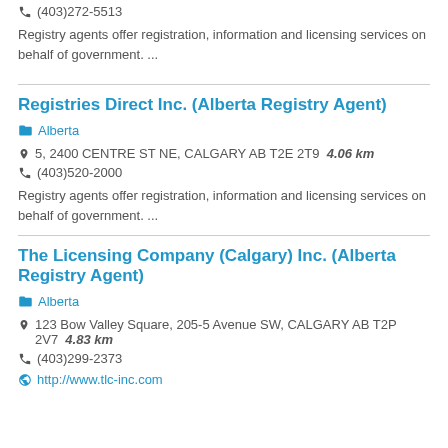(403)272-5513
Registry agents offer registration, information and licensing services on behalf of government. ...
Registries Direct Inc. (Alberta Registry Agent)
Alberta
5, 2400 CENTRE ST NE, CALGARY AB T2E 2T9   4.06 km
(403)520-2000
Registry agents offer registration, information and licensing services on behalf of government. ...
The Licensing Company (Calgary) Inc. (Alberta Registry Agent)
Alberta
123 Bow Valley Square, 205-5 Avenue SW, CALGARY AB T2P 2V7   4.83 km
(403)299-2373
http://www.tlc-inc.com